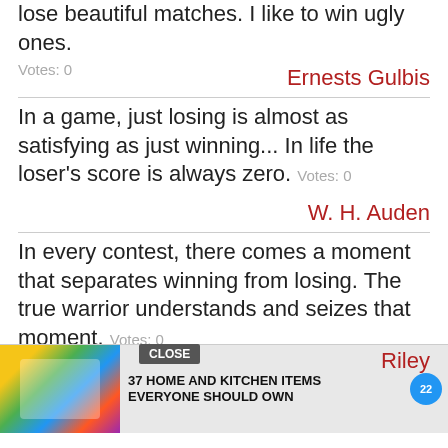I don't like losing. I like winning. I don't like to lose beautiful matches. I like to win ugly ones. Votes: 0
Ernests Gulbis
In a game, just losing is almost as satisfying as just winning... In life the loser's score is always zero. Votes: 0
W. H. Auden
In every contest, there comes a moment that separates winning from losing. The true warrior understands and seizes that moment. Votes: 0
Riley
[Figure (screenshot): Advertisement overlay: '37 HOME AND KITCHEN ITEMS EVERYONE SHOULD OWN' with colorful bag image and CLOSE button]
Race, what is that? Race is a competition, somebody winning and somebody losing.